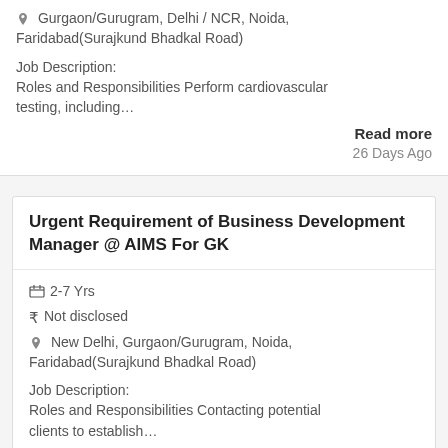Gurgaon/Gurugram, Delhi / NCR, Noida, Faridabad(Surajkund Bhadkal Road)
Job Description:
Roles and Responsibilities Perform cardiovascular testing, including…
Read more
26 Days Ago
Urgent Requirement of Business Development Manager @ AIMS For GK
2-7 Yrs
₹ Not disclosed
New Delhi, Gurgaon/Gurugram, Noida, Faridabad(Surajkund Bhadkal Road)
Job Description:
Roles and Responsibilities Contacting potential clients to establish…
Read more